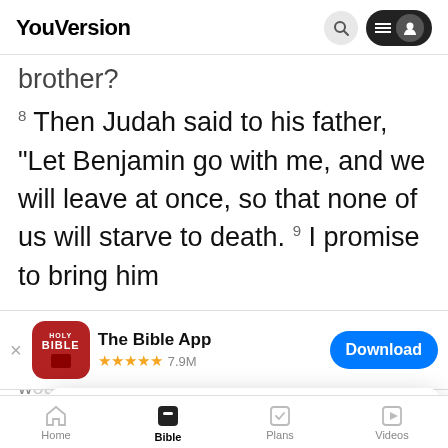YouVersion
brother?
8 Then Judah said to his father, “Let Benjamin go with me, and we will leave at once, so that none of us will starve to death. 9 I promise to bring him
[Figure (screenshot): App download banner for 'The Bible App' with Holy Bible icon, 5 stars, 7.9M reviews, and a Download button]
w...ould already have been there and back t..."
11 Th...
If Benjamin must do with you: take the
[Figure (screenshot): Cookie consent popup: YouVersion uses cookies to personalize your experience. By using our website, you accept our use of cookies as described in our Privacy Policy. OK button.]
Home | Bible | Plans | Videos